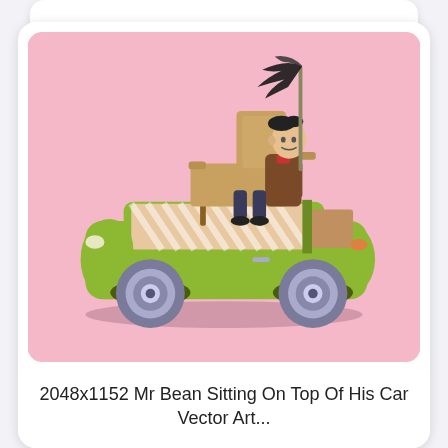[Figure (illustration): Vector art illustration of Mr Bean sitting on an armchair strapped to the roof of a green Mini car, holding a long pole with a feather duster at the top, against a pink background. The car has diagonal stripe pattern visible through the windshield.]
2048x1152 Mr Bean Sitting On Top Of His Car Vector Art...